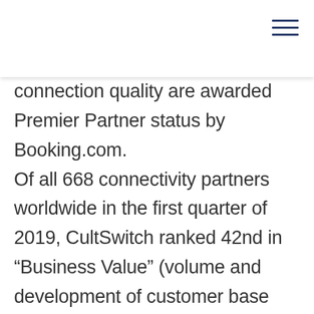connection quality are awarded Premier Partner status by Booking.com. Of all 668 connectivity partners worldwide in the first quarter of 2019, CultSwitch ranked 42nd in “Business Value” (volume and development of customer base and overnight stays sold), 4th in “Property Performance” (optimization of offers and conditions to increase sales), 20th in “Products & Quality” (technical quality, especially